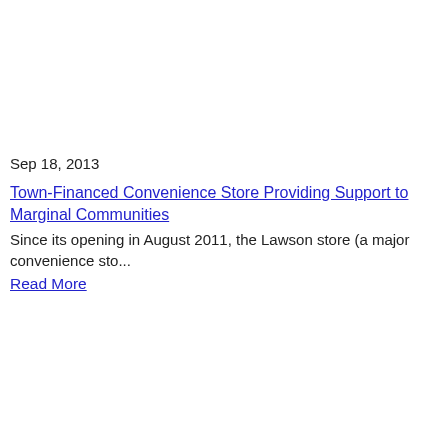Sep 18, 2013
Town-Financed Convenience Store Providing Support to Marginal Communities
Since its opening in August 2011, the Lawson store (a major convenience sto...
Read More